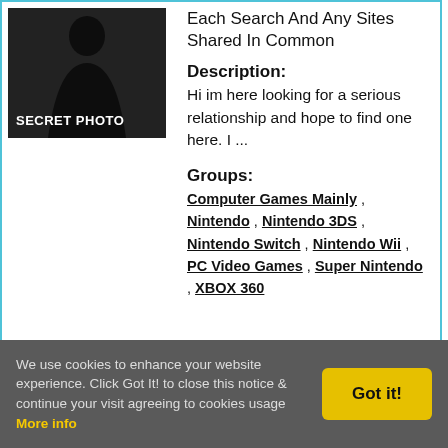[Figure (photo): Dark silhouette photo of a person with 'SECRET PHOTO' text overlaid at the bottom]
Each Search And Any Sites Shared In Common
Description:
Hi im here looking for a serious relationship and hope to find one here. I ...
Groups:
Computer Games Mainly , Nintendo , Nintendo 3DS , Nintendo Switch , Nintendo Wii , PC Video Games , Super Nintendo , XBOX 360
We use cookies to enhance your website experience. Click Got It! to close this notice & continue your visit agreeing to cookies usage More info
Got it!